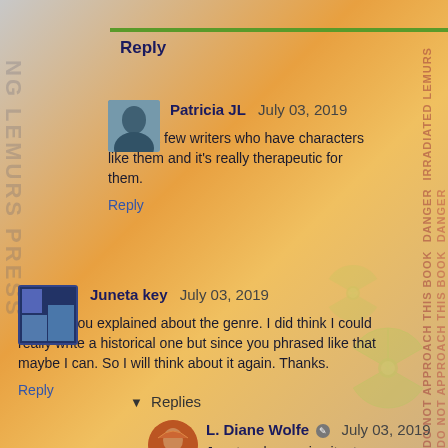Reply
Patricia JL  July 03, 2019
I know a few writers who have characters like them and it's really therapeutic for them.
Reply
Juneta key  July 03, 2019
I'm glad you explained about the genre. I did think I could really write a historical one but since you phrased like that maybe I can. So I will think about it again. Thanks.
Reply
Replies
L. Diane Wolfe  July 03, 2019
Juneta, please give it a try.